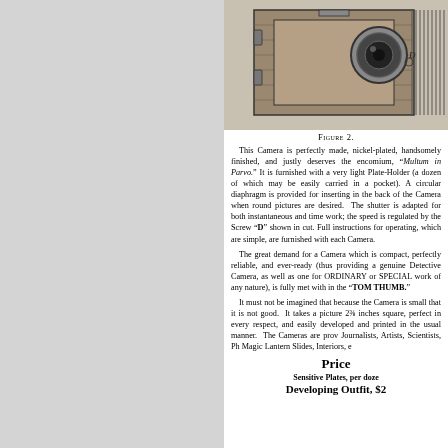[Figure (illustration): Engraving of a small detective camera, shown from the back/side, with circular lens element labeled D visible]
Figure 2.
This Camera is perfectly made, nickel-plated, handsomely finished, and justly deserves the encomium, "Multum in Parvo." It is furnished with a very light Plate-Holder (a dozen of which may be easily carried in a pocket). A circular diaphragm is provided for inserting in the back of the Camera when round pictures are desired. The shutter is adapted for both instantaneous and time work; the speed is regulated by the Screw "D" shown in cut. Full instructions for operating, which are simple, are furnished with each Camera.

The great demand for a Camera which is compact, perfectly reliable, and ever-ready (thus providing a genuine Detective Camera, as well as one for ORDINARY or SPECIAL work of any nature), is fully met with in the "TOM THUMB."

It must not be imagined that because the Camera is small that it is not good. It takes a picture 2⅜ inches square, perfect in every respect, and easily developed and printed in the usual manner. The Cameras are proved for Journalists, Artists, Scientists, Photographers for Magic Lantern Slides, Interiors, etc.
Price
Sensitive Plates, per dozen
Developing Outfit, $2...